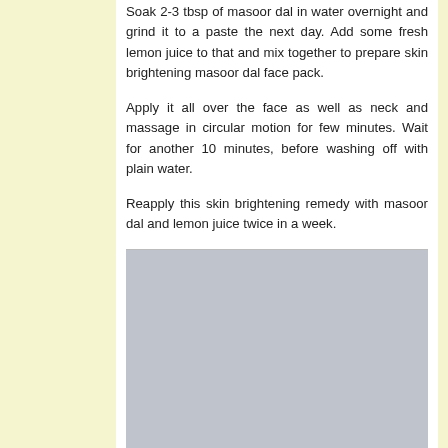Soak 2-3 tbsp of masoor dal in water overnight and grind it to a paste the next day. Add some fresh lemon juice to that and mix together to prepare skin brightening masoor dal face pack.
Apply it all over the face as well as neck and massage in circular motion for few minutes. Wait for another 10 minutes, before washing off with plain water.
Reapply this skin brightening remedy with masoor dal and lemon juice twice in a week.
[Figure (photo): Gray placeholder image block below the text content]